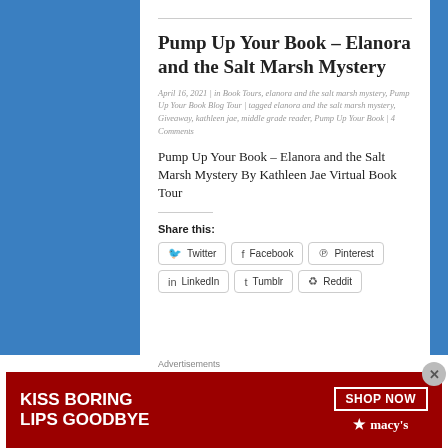Pump Up Your Book – Elanora and the Salt Marsh Mystery
April 16, 2021 | in Book Tours, elanora and the salt marsh mystery, Pump Up Your Book Blog Tour | tagged elanora and the salt marsh mystery, Giveaway, kathleen jae, middle grade reader, Pump Up Your Book | 4 Comments
Pump Up Your Book – Elanora and the Salt Marsh Mystery By Kathleen Jae Virtual Book Tour
Share this:
Twitter  Facebook  Pinterest  LinkedIn  Tumblr  Reddit
Advertisements
[Figure (illustration): Macy's advertisement banner: red background with text KISS BORING LIPS GOODBYE, a SHOP NOW button, and Macy's logo with star]